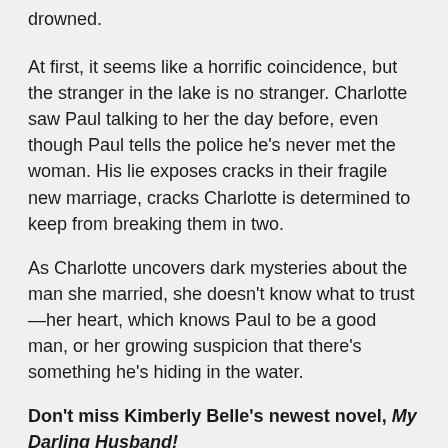drowned.
At first, it seems like a horrific coincidence, but the stranger in the lake is no stranger. Charlotte saw Paul talking to her the day before, even though Paul tells the police he's never met the woman. His lie exposes cracks in their fragile new marriage, cracks Charlotte is determined to keep from breaking them in two.
As Charlotte uncovers dark mysteries about the man she married, she doesn't know what to trust—her heart, which knows Paul to be a good man, or her growing suspicion that there's something he's hiding in the water.
Don't miss Kimberly Belle's newest novel, My Darling Husband!